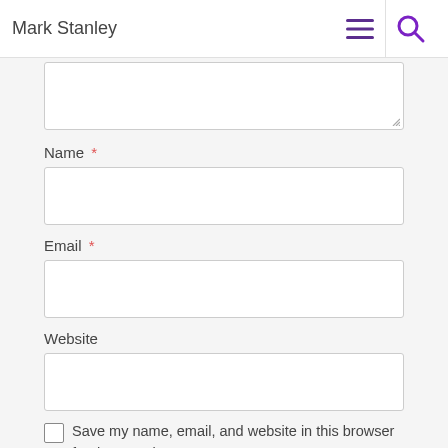Mark Stanley
Name *
Email *
Website
Save my name, email, and website in this browser for the next time I comment.